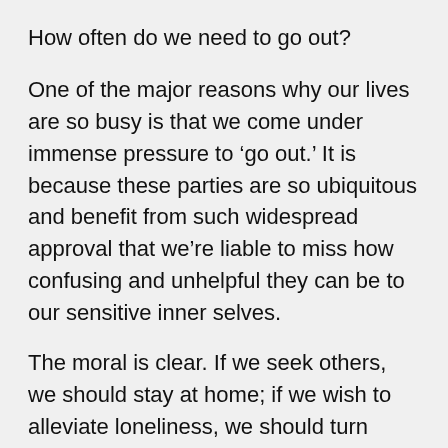How often do we need to go out?
One of the major reasons why our lives are so busy is that we come under immense pressure to ‘go out.’ It is because these parties are so ubiquitous and benefit from such widespread approval that we’re liable to miss how confusing and unhelpful they can be to our sensitive inner selves.
The moral is clear. If we seek others, we should stay at home; if we wish to alleviate loneliness, we should turn down invitations; if we want company,
The moral is clear. If we seek others, we should stay at home; if we wish to alleviate loneliness, we